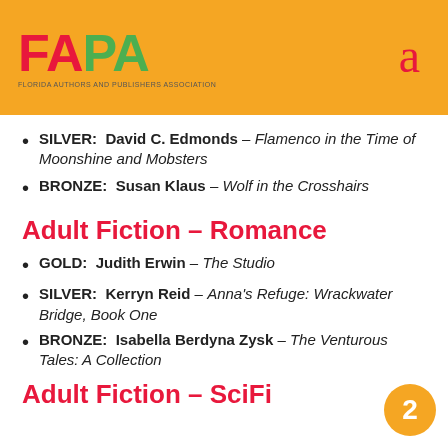[Figure (logo): FAPA Florida Authors and Publishers Association logo on orange header bar]
SILVER: David C. Edmonds – Flamenco in the Time of Moonshine and Mobsters
BRONZE: Susan Klaus – Wolf in the Crosshairs
Adult Fiction – Romance
GOLD: Judith Erwin – The Studio
SILVER: Kerryn Reid – Anna's Refuge: Wrackwater Bridge, Book One
BRONZE: Isabella Berdyna Zysk – The Venturous Tales: A Collection
Adult Fiction – SciFi
2